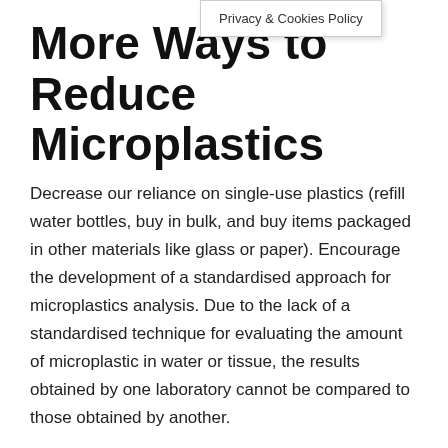Privacy & Cookies Policy
More Ways to Reduce Microplastics
Decrease our reliance on single-use plastics (refill water bottles, buy in bulk, and buy items packaged in other materials like glass or paper). Encourage the development of a standardised approach for microplastics analysis. Due to the lack of a standardised technique for evaluating the amount of microplastic in water or tissue, the results obtained by one laboratory cannot be compared to those obtained by another.